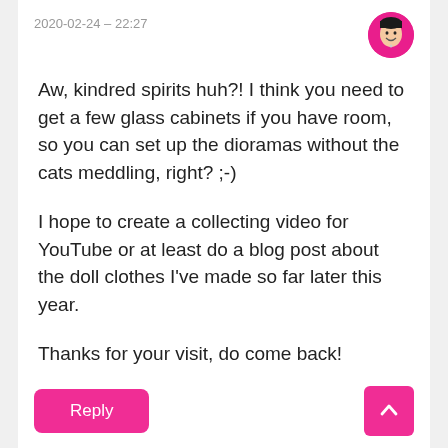2020-02-24 – 22:27
Aw, kindred spirits huh?! I think you need to get a few glass cabinets if you have room, so you can set up the dioramas without the cats meddling, right? ;-)
I hope to create a collecting video for YouTube or at least do a blog post about the doll clothes I've made so far later this year.
Thanks for your visit, do come back!